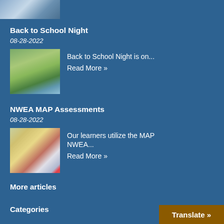[Figure (photo): Partial thumbnail image at top of page]
Back to School Night
08-28-2022
[Figure (photo): Outdoor scene with children playing]
Back to School Night is on...
Read More »
NWEA MAP Assessments
08-28-2022
[Figure (photo): Scrabble tiles spelling LEARN]
Our learners utilize the MAP NWEA...
Read More »
More articles
Categories
Translate »